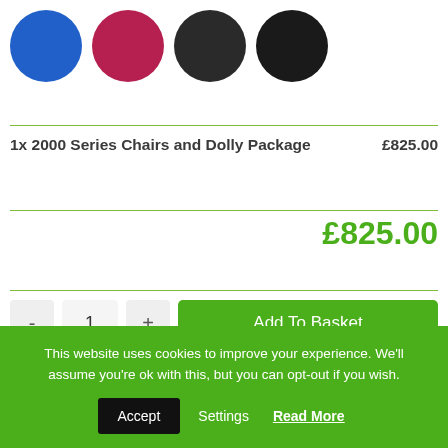[Figure (illustration): Four circular leather texture swatches in blue, dark red/magenta, dark gray, and black]
1x 2000 Series Chairs and Dolly Package   £825.00
£825.00
- 1 +  Add To Basket
Click To Add To Basket Where The Bulk Discount Will Be Applied.
This website uses cookies to improve your experience. We'll assume you're ok with this, but you can opt-out if you wish.  Accept  Settings  Read More